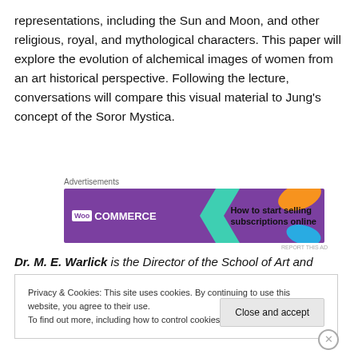representations, including the Sun and Moon, and other religious, royal, and mythological characters. This paper will explore the evolution of alchemical images of women from an art historical perspective. Following the lecture, conversations will compare this visual material to Jung's concept of the Soror Mystica.
[Figure (other): WooCommerce advertisement banner: 'How to start selling subscriptions online']
Dr. M. E. Warlick is the Director of the School of Art and
Privacy & Cookies: This site uses cookies. By continuing to use this website, you agree to their use.
To find out more, including how to control cookies, see here: Cookie Policy